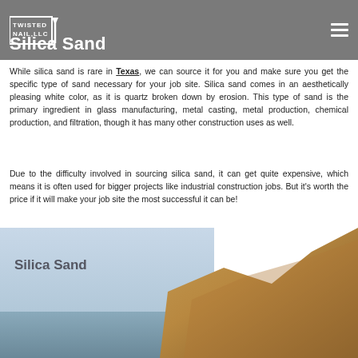TWISTED NAIL, LLC
Silica Sand
While silica sand is rare in Texas, we can source it for you and make sure you get the specific type of sand necessary for your job site. Silica sand comes in an aesthetically pleasing white color, as it is quartz broken down by erosion. This type of sand is the primary ingredient in glass manufacturing, metal casting, metal production, chemical production, and filtration, though it has many other construction uses as well.
Due to the difficulty involved in sourcing silica sand, it can get quite expensive, which means it is often used for bigger projects like industrial construction jobs. But it's worth the price if it will make your job site the most successful it can be!
[Figure (photo): A photo of a pile of silica sand with blue sky background, labeled 'Silica Sand' in the lower left area of the image.]